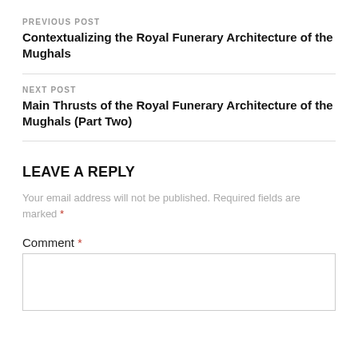PREVIOUS POST
Contextualizing the Royal Funerary Architecture of the Mughals
NEXT POST
Main Thrusts of the Royal Funerary Architecture of the Mughals (Part Two)
LEAVE A REPLY
Your email address will not be published. Required fields are marked *
Comment *